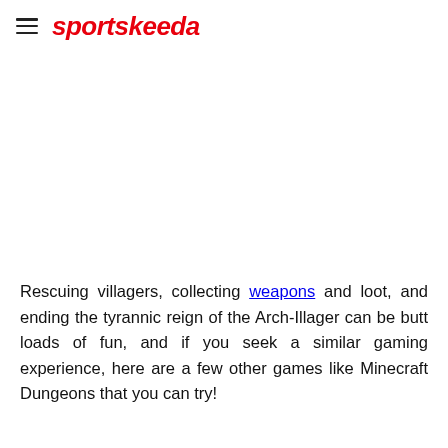sportskeeda
[Figure (other): Advertisement or blank image placeholder area]
Rescuing villagers, collecting weapons and loot, and ending the tyrannic reign of the Arch-Illager can be butt loads of fun, and if you seek a similar gaming experience, here are a few other games like Minecraft Dungeons that you can try!